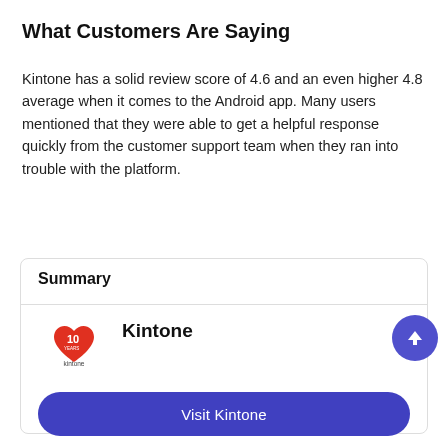What Customers Are Saying
Kintone has a solid review score of 4.6 and an even higher 4.8 average when it comes to the Android app. Many users mentioned that they were able to get a helpful response quickly from the customer support team when they ran into trouble with the platform.
| Summary |
| Kintone logo | Kintone |
| Visit Kintone |